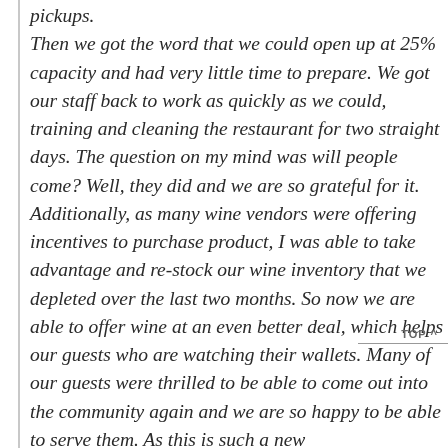pickups. Then we got the word that we could open up at 25% capacity and had very little time to prepare. We got our staff back to work as quickly as we could, training and cleaning the restaurant for two straight days. The question on my mind was will people come? Well, they did and we are so grateful for it. Additionally, as many wine vendors were offering incentives to purchase product, I was able to take advantage and re-stock our wine inventory that we depleted over the last two months. So now we are able to offer wine at an even better deal, which helps our guests who are watching their wallets. Many of our guests were thrilled to be able to come out into the community again and we are so happy to be able to serve them. As this is such a new